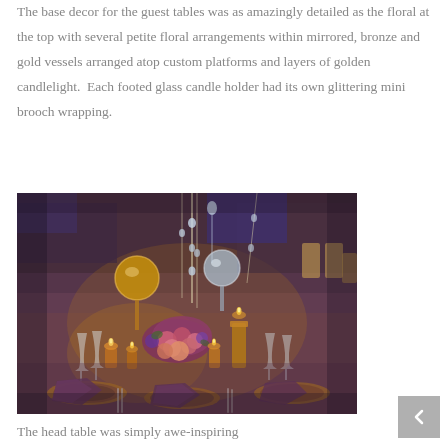The base decor for the guest tables was as amazingly detailed as the floral at the top with several petite floral arrangements within mirrored, bronze and gold vessels arranged atop custom platforms and layers of golden candlelight.  Each footed glass candle holder had its own glittering mini brooch wrapping.
[Figure (photo): A lavishly decorated wedding reception guest table with tall crystal and gold floral centerpieces, candlelight, purple/mauve table linens, floral arrangements with pink and purple flowers, and elegant place settings with charger plates.]
The head table was simply awe-inspiring